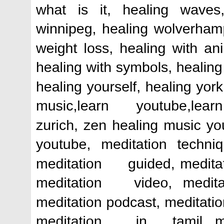what is it, healing waves, healing with crystals, healing winnipeg, healing wolverhampton, healing with angels, healing weight loss, healing with animals, healing what is it used for, healing with symbols, healing with chakras, healing with horses, healing yourself, healing york, master youtube, healing youtube music,learn youtube,learn yourself, healing zen, healing zurich, zen healing music youtube, master zeeland, meditation youtube, meditation techniques, meditation script, meditation guided, meditation & aromatherapy music, meditation video, meditation sleep, meditation symbols, meditation podcast, meditation healing, meditation app, meditation in tamil, meditation music mp3, meditation images, meditation free download, meditation wiki, meditation audio, meditation and visualization, and meditation, attunement meditation, and meditation techniques, and meditation glasgow, and meditation music, attunement meditation script, angel meditation, wellness and meditation center,the and meditation project,the little meditation album,guided meditation attunement, healing and meditation, 1 attunement meditation,difference between and meditation,meditation and principles,book on and meditation, meditation benefits, meditation bangalore, meditation book, meditation by celeste, ball meditation, breathing meditation,meditation beginners, meditation for